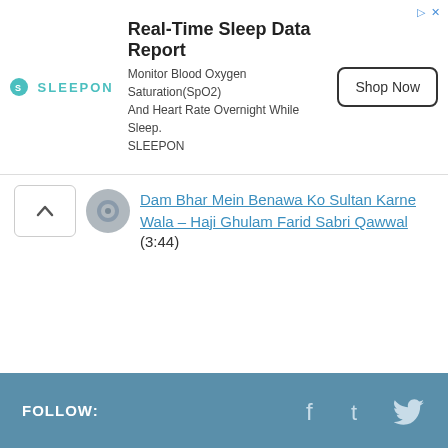[Figure (other): Advertisement banner for SLEEPON – Real-Time Sleep Data Report. Logo: SLEEPON in teal. Title: Real-Time Sleep Data Report. Body: Monitor Blood Oxygen Saturation(SpO2) And Heart Rate Overnight While Sleep. SLEEPON. Button: Shop Now.]
Dam Bhar Mein Benawa Ko Sultan Karne Wala – Haji Ghulam Farid Sabri Qawwal (3:44)
FOLLOW: